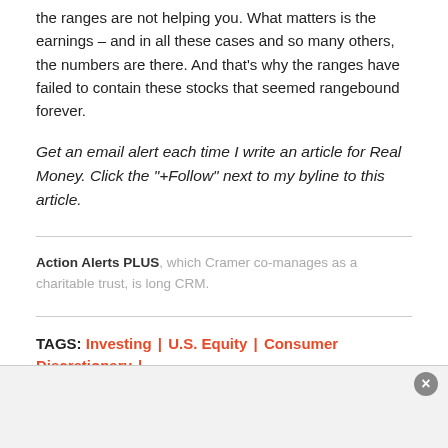the ranges are not helping you. What matters is the earnings – and in all these cases and so many others, the numbers are there. And that's why the ranges have failed to contain these stocks that seemed rangebound forever.
Get an email alert each time I write an article for Real Money. Click the "+Follow" next to my byline to this article.
Action Alerts PLUS, which Cramer co-manages as a charitable trust, is long CRM.
TAGS: Investing | U.S. Equity | Consumer Discretionary |